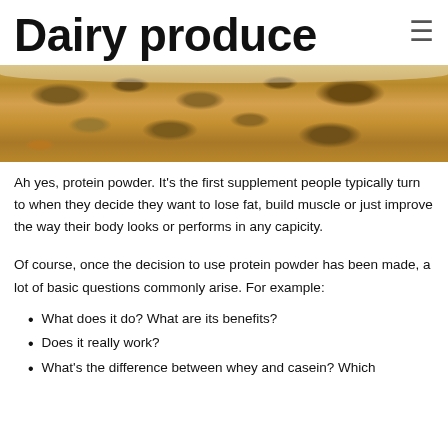Dairy produce
[Figure (photo): Close-up photo of granola or muesli cereal in a white bowl, showing oats, nuts and dried fruits.]
Ah yes, protein powder. It's the first supplement people typically turn to when they decide they want to lose fat, build muscle or just improve the way their body looks or performs in any capicity.
Of course, once the decision to use protein powder has been made, a lot of basic questions commonly arise. For example:
What does it do? What are its benefits?
Does it really work?
What's the difference between whey and casein? Which is better?